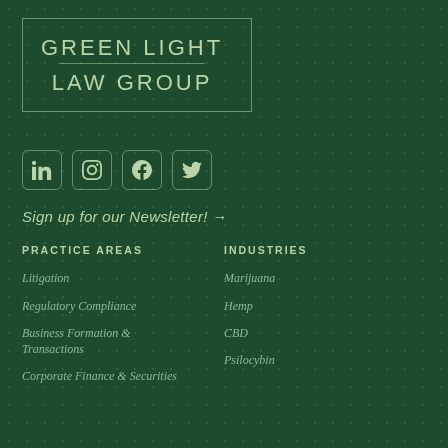[Figure (logo): Green Light Law Group logo in a rectangular border with light green text on dark green background]
[Figure (infographic): Social media icons row: LinkedIn, Instagram, Facebook, Twitter]
Sign up for our Newsletter! →
PRACTICE AREAS
INDUSTRIES
Litigation
Regulatory Compliance
Business Formation & Transactions
Corporate Finance & Securities
Marijuana
Hemp
CBD
Psilocybin